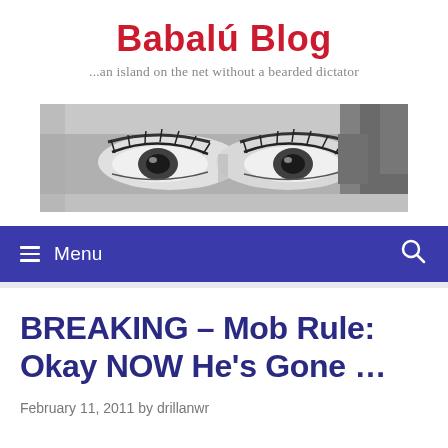Babalú Blog
...an island on the net without a bearded dictator
[Figure (photo): Close-up black and white photo of a person's eyes, used as a website banner image]
≡ Menu
BREAKING – Mob Rule: Okay NOW He's Gone …
February 11, 2011 by drillanwr